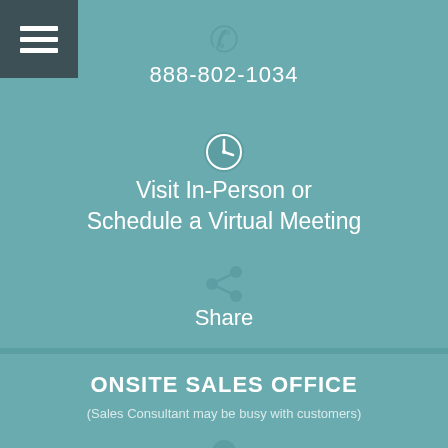[Figure (infographic): Menu hamburger icon button in dark teal square top left]
[Figure (infographic): Phone handset icon in muted teal]
888-802-1034
[Figure (infographic): Clock icon in muted teal circle]
Visit In-Person or Schedule a Virtual Meeting
[Figure (infographic): Share icon (three circles connected)]
Share
ONSITE SALES OFFICE
(Sales Consultant may be busy with customers)
[Figure (infographic): Partial icon at bottom center]